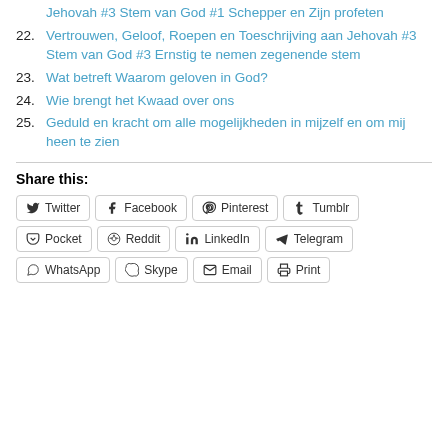Jehovah #3 Stem van God #1 Schepper en Zijn profeten
22. Vertrouwen, Geloof, Roepen en Toeschrijving aan Jehovah #3 Stem van God #3 Ernstig te nemen zegenende stem
23. Wat betreft Waarom geloven in God?
24. Wie brengt het Kwaad over ons
25. Geduld en kracht om alle mogelijkheden in mijzelf en om mij heen te zien
Share this:
Twitter, Facebook, Pinterest, Tumblr, Pocket, Reddit, LinkedIn, Telegram, WhatsApp, Skype, Email, Print